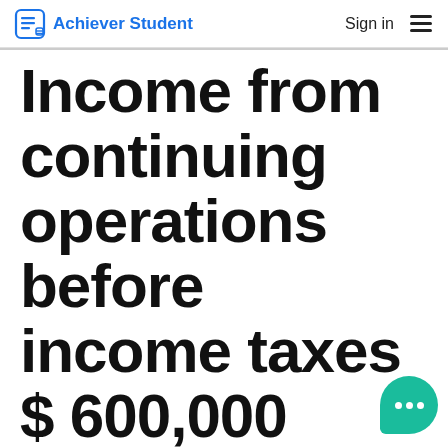Achiever Student  Sign in
Income from continuing operations before income taxes $ 600,000
Income from continuing operations before income taxes $ 600,000
Gain on discontinued operations 50,000
Correction of prior year's error in recording depreciation